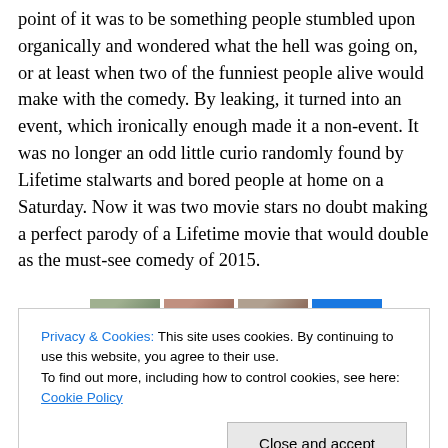point of it was to be something people stumbled upon organically and wondered what the hell was going on, or at least when two of the funniest people alive would make with the comedy. By leaking, it turned into an event, which ironically enough made it a non-event. It was no longer an odd little curio randomly found by Lifetime stalwarts and bored people at home on a Saturday. Now it was two movie stars no doubt making a perfect parody of a Lifetime movie that would double as the must-see comedy of 2015.
[Figure (photo): A horizontal strip of thumbnail images partially visible, including faces and a blue element]
Privacy & Cookies: This site uses cookies. By continuing to use this website, you agree to their use.
To find out more, including how to control cookies, see here: Cookie Policy
Close and accept